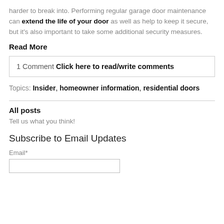harder to break into. Performing regular garage door maintenance can extend the life of your door as well as help to keep it secure, but it's also important to take some additional security measures.
Read More
1 Comment Click here to read/write comments
Topics: Insider, homeowner information, residential doors
All posts
Tell us what you think!
Subscribe to Email Updates
Email*